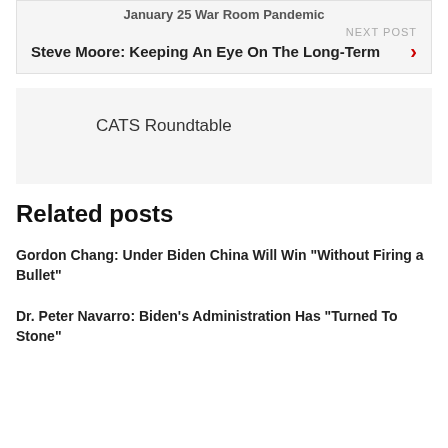January 25 War Room Pandemic
NEXT POST
Steve Moore: Keeping An Eye On The Long-Term
CATS Roundtable
Related posts
Gordon Chang: Under Biden China Will Win “Without Firing a Bullet”
Dr. Peter Navarro: Biden’s Administration Has “Turned To Stone”